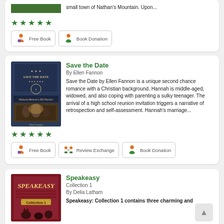[Figure (illustration): Partial top card showing book cover (green/nature theme) and text snippet 'small town of Nathan's Mountain. Upon...' with 5 green stars and two buttons: Free Book and Book Donation]
small town of Nathan's Mountain. Upon...
[Figure (illustration): 5 green stars rating]
Free Book
Book Donation
Save the Date
By Ellen Fannon
[Figure (illustration): Save the Date book cover — dark blue with ornate design, author Ellen Fannon, showing a reunion event scene]
Save the Date by Ellen Fannon is a unique second chance romance with a Christian background. Hannah is middle-aged, widowed, and also coping with parenting a sulky teenager. The arrival of a high school reunion invitation triggers a narrative of retrospection and self-assessment. Hannah's marriage...
[Figure (illustration): 5 green stars rating]
Free Book
Review Exchange
Book Donation
Speakeasy
Collection 1
By Delia Latham
[Figure (illustration): Speakeasy Collection 1 book cover — dark red/maroon with cats]
Speakeasy: Collection 1 contains three charming and